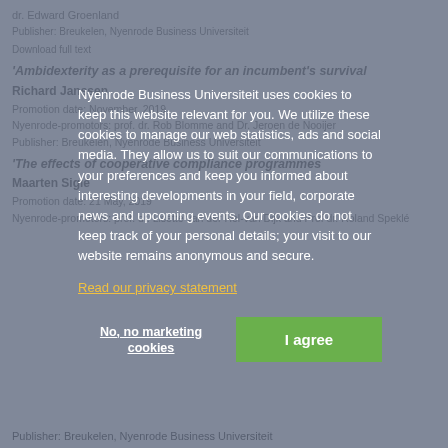dr. Edward Groenland
Publisher: Breukelen, Nyenrode Business Universiteit
Download full text
'Ambidexterity as a prerequisite for an incumbent's survival
Richard Janssen
Promotion date: November, 2019
Nyenrode-promotors: prof. dr. Rob Blomme and Dr. Jeroen de Nooijer
Publisher: Breukelen, Nyenrode Business Universiteit
'The effects of cooperative compliance programmes
Maarten Sigié
Promotion date: 21 May, 2019
Nyenrode-promotors: prof. dr. Lisette van der Hel-van Dijk and Prof dr. Roland Speklé
Publisher: Breukelen, Nyenrode Business Universiteit
[Figure (screenshot): Cookie consent overlay/modal on Nyenrode Business Universiteit website. The modal contains text explaining cookie usage, a link to the privacy statement, a 'No, no marketing cookies' button and a green 'I agree' button.]